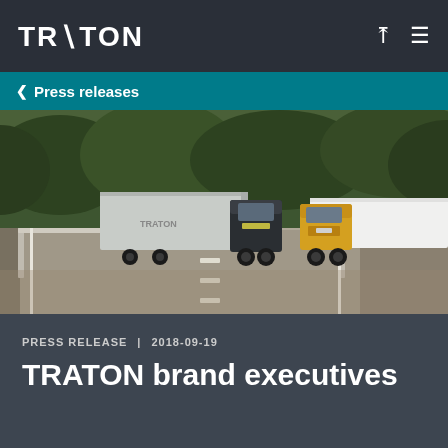TRATON
< Press releases
[Figure (photo): Two trucks driving on a highway — a dark Scania truck with silver trailer in the foreground (left lane) and a yellow MAN truck with white trailer (right lane), surrounded by green trees and grey road markings.]
PRESS RELEASE  | 2018-09-19
TRATON brand executives